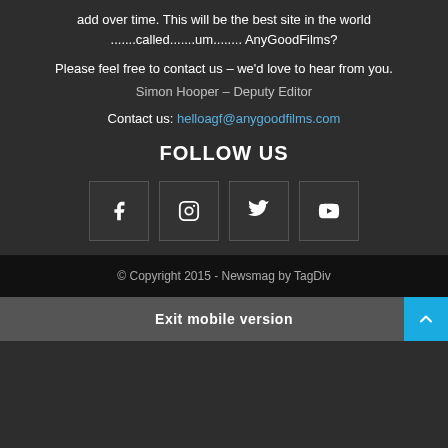add over time. This will be the best site in the world .......called.......um........ AnyGoodFilms?
Please feel free to contact us – we'd love to hear from you.
Simon Hooper – Deputy Editor
Contact us: helloagf@anygoodfilms.com
FOLLOW US
[Figure (infographic): Four social media icon boxes: Facebook, Instagram, Twitter, YouTube]
© Copyright 2015 - Newsmag by TagDiv
Exit mobile version